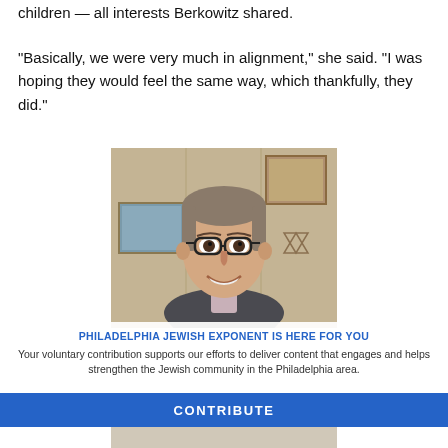children — all interests Berkowitz shared.
“Basically, we were very much in alignment,” she said. “I was hoping they would feel the same way, which thankfully, they did.”
[Figure (photo): Portrait photo of a man with glasses, smiling, wearing a dark blazer, with framed artwork and a Star of David visible in the background]
PHILADELPHIA JEWISH EXPONENT IS HERE FOR YOU
Your voluntary contribution supports our efforts to deliver content that engages and helps strengthen the Jewish community in the Philadelphia area.
CONTRIBUTE